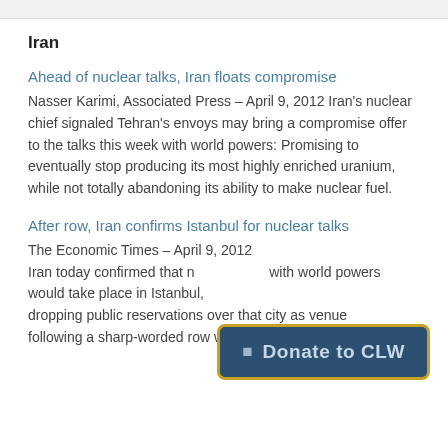Iran
Ahead of nuclear talks, Iran floats compromise
Nasser Karimi, Associated Press – April 9, 2012
Iran's nuclear chief signaled Tehran's envoys may bring a compromise offer to the talks this week with world powers: Promising to eventually stop producing its most highly enriched uranium, while not totally abandoning its ability to make nuclear fuel.
After row, Iran confirms Istanbul for nuclear talks
The Economic Times – April 9, 2012
Iran today confirmed that nuclear talks with world powers would take place in Istanbul, dropping public reservations over that city as venue following a sharp-worded row with Turkey.
[Figure (other): Donate to CLW button overlay with dark blue background and gold border]